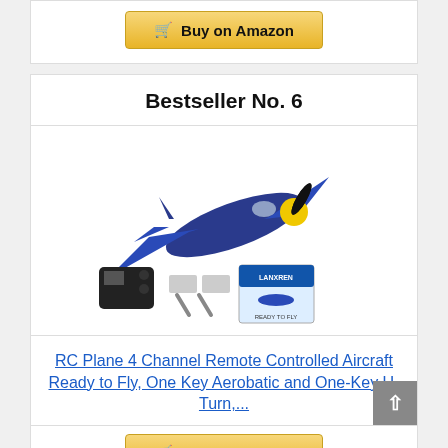[Figure (other): Buy on Amazon button with shopping cart icon, gold/yellow gradient button]
Bestseller No. 6
[Figure (photo): RC Plane blue WWII-style remote controlled aircraft with controller, batteries and box shown]
RC Plane 4 Channel Remote Controlled Aircraft Ready to Fly, One Key Aerobatic and One-Key U-Turn,...
[Figure (other): Buy on Amazon button with shopping cart icon, gold/yellow gradient button (partially visible)]